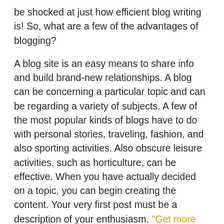be shocked at just how efficient blog writing is! So, what are a few of the advantages of blogging?
A blog site is an easy means to share info and build brand-new relationships. A blog can be concerning a particular topic and can be regarding a variety of subjects. A few of the most popular kinds of blogs have to do with personal stories, traveling, fashion, and also sporting activities. Also obscure leisure activities, such as horticulture, can be effective. When you have actually decided on a topic, you can begin creating the content. Your very first post must be a description of your enthusiasm. "Get more information "
Among the biggest advantages of blog writing is that it enables audience interaction. Due to the fact that blog sites are upgraded frequently, it enables even more communication between your viewers. Additionally, you can make use of remarks as well as